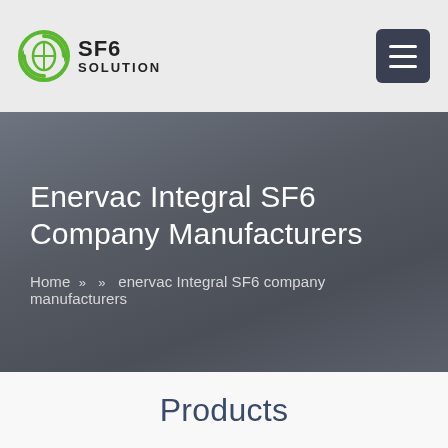[Figure (logo): SF6 Solution logo with green circular arrow icon and text SF6 SOLUTION]
SF6 SOLUTION
Enervac Integral SF6 Company Manufacturers
Home » »  enervac Integral SF6 company manufacturers
Products